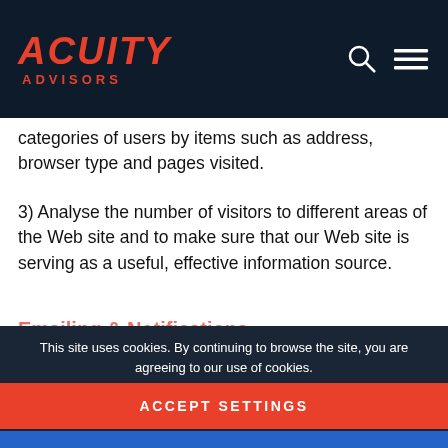ACUITY ADVISORS
categories of users by items such as address, browser type and pages visited.
3) Analyse the number of visitors to different areas of the Web site and to make sure that our Web site is serving as a useful, effective information source.
This site uses cookies. By continuing to browse the site, you are agreeing to our use of cookies.
ACCEPT SETTINGS
HIDE NOTIFICATION ONLY
SETTINGS
View as a web page: If you click on the "view as a web page" link, a cookie is recorded by us so that the web page is personalised in the